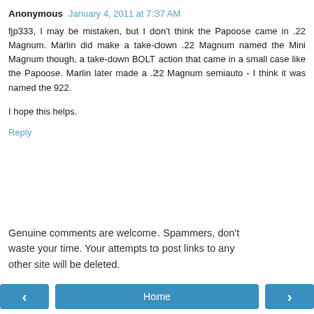Anonymous  January 4, 2011 at 7:37 AM
fjp333, I may be mistaken, but I don't think the Papoose came in .22 Magnum. Marlin did make a take-down .22 Magnum named the Mini Magnum though, a take-down BOLT action that came in a small case like the Papoose. Marlin later made a .22 Magnum semiauto - I think it was named the 922.
I hope this helps.
Reply
Genuine comments are welcome. Spammers, don't waste your time. Your attempts to post links to any other site will be deleted.
Home